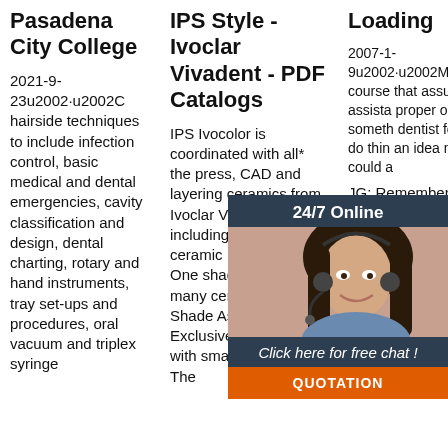Pasadena City College
2021-9-23u2002·u2002C hairside techniques to include infection control, basic medical and dental emergencies, cavity classification and design, dental charting, rotary and hand instruments, tray set-ups and procedures, oral vacuum and triplex syringe
IPS Style - Ivoclar Vivadent - PDF Catalogs
IPS Ivocolor is coordinated with all* the press, CAD and layering ceramics from Ivoclar Vivadent, including the all-ceramic IPS e.max®. One shade system for many ceramics. Digital Shade Assistant (DSA) Exclusive design paired with smart technology: The
Loading
2007-1-9u2002·u2002MD : Of course that assum assista proper on the someth dentist forget a do thin an idea most d could a
JG: Remember I mentioned one time that most dentists are looking for a tight fit and they check it with a piece of
[Figure (screenshot): 24/7 online chat widget with woman wearing headset, 'Click here for free chat!' text, and orange QUOTATION button]